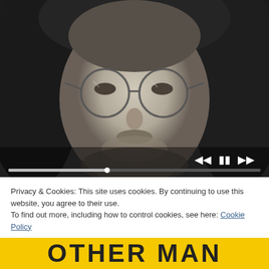[Figure (photo): Black and white close-up portrait of a young man with long hair, round wire-rimmed glasses, and a beard. A video player progress bar and playback controls (skip back, pause, skip forward) are overlaid at the bottom of the image.]
Privacy & Cookies: This site uses cookies. By continuing to use this website, you agree to their use.
To find out more, including how to control cookies, see here: Cookie Policy
Close and accept